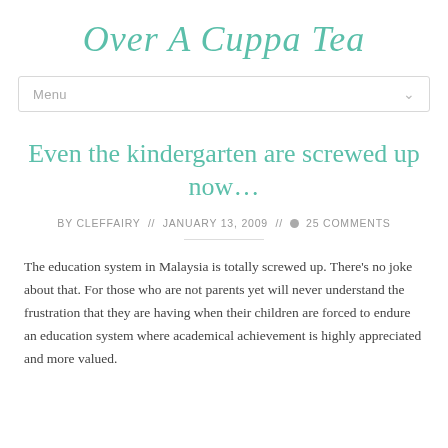Over A Cuppa Tea
Menu
Even the kindergarten are screwed up now…
BY CLEFFAIRY // JANUARY 13, 2009 // 25 COMMENTS
The education system in Malaysia is totally screwed up. There's no joke about that. For those who are not parents yet will never understand the frustration that they are having when their children are forced to endure an education system where academical achievement is highly appreciated and more valued.